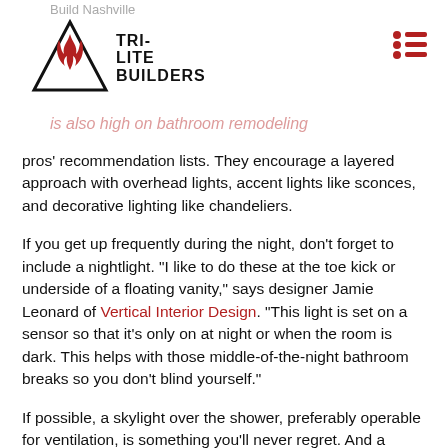Build Nashville
[Figure (logo): Tri-Lite Builders logo with triangle containing flame graphic and text TRI-LITE BUILDERS]
...is also high on bathroom remodeling pros' recommendation lists. They encourage a layered approach with overhead lights, accent lights like sconces, and decorative lighting like chandeliers.
If you get up frequently during the night, don't forget to include a nightlight. “I like to do these at the toe kick or underside of a floating vanity,” says designer Jamie Leonard of Vertical Interior Design. “This light is set on a sensor so that it’s only on at night or when the room is dark. This helps with those middle-of-the-night bathroom breaks so you don’t blind yourself.”
If possible, a skylight over the shower, preferably operable for ventilation, is something you’ll never regret. And a dimmer switch for light fixtures is a must, pros say. “Sometimes you want it to be dim, sometimes you need to shave or put on makeup,” says architect Tim